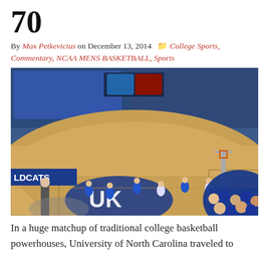70
By Max Petkevicius on December 13, 2014  College Sports, Commentary, NCAA MENS BASKETBALL, Sports
[Figure (photo): Indoor basketball arena, Rupp Arena or similar Kentucky Wildcats venue, showing the hardwood court with the UK logo, players in blue warming up, and a packed crowd of fans in blue and white.]
In a huge matchup of traditional college basketball powerhouses, University of North Carolina traveled to